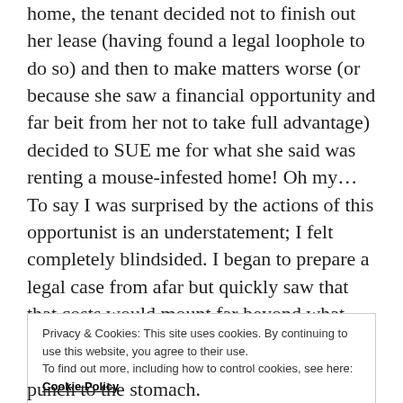home, the tenant decided not to finish out her lease (having found a legal loophole to do so) and then to make matters worse (or because she saw a financial opportunity and far beit from her not to take full advantage) decided to SUE me for what she said was renting a mouse-infested home! Oh my… To say I was surprised by the actions of this opportunist is an understatement; I felt completely blindsided. I began to prepare a legal case from afar but quickly saw that that costs would mount far beyond what was being extorted from me already, and it would be best to cut my losses. So that emergency fund I had safely tucked away was emptied completely and put directly into the pocket of said opportunist. And this was within only
Privacy & Cookies: This site uses cookies. By continuing to use this website, you agree to their use.
To find out more, including how to control cookies, see here: Cookie Policy
Close and accept
punch to the stomach.